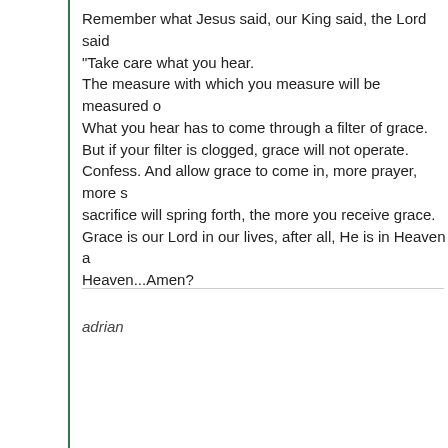Remember what Jesus said, our King said, the Lord said "Take care what you hear. The measure with which you measure will be measured o... What you hear has to come through a filter of grace. But if your filter is clogged, grace will not operate. Confess. And allow grace to come in, more prayer, more s... sacrifice will spring forth, the more you receive grace. Grace is our Lord in our lives, after all, He is in Heaven a... Heaven...Amen?
adrian